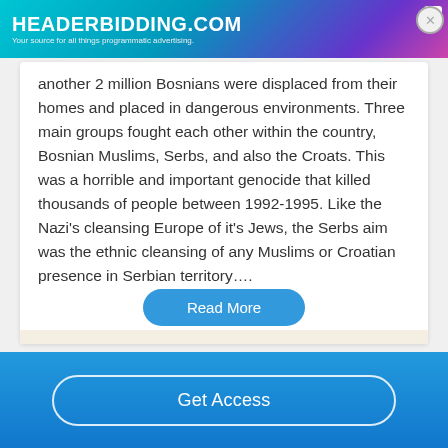[Figure (screenshot): HeaderBidding.com advertisement banner with teal-to-purple gradient background and text 'HEADERBIDDING.COM - Your source for all things programmatic advertising.']
another 2 million Bosnians were displaced from their homes and placed in dangerous environments. Three main groups fought each other within the country, Bosnian Muslims, Serbs, and also the Croats. This was a horrible and important genocide that killed thousands of people between 1992-1995. Like the Nazi's cleansing Europe of it's Jews, the Serbs aim was the ethnic cleansing of any Muslims or Croatian presence in Serbian territory….
Read More
Get Access